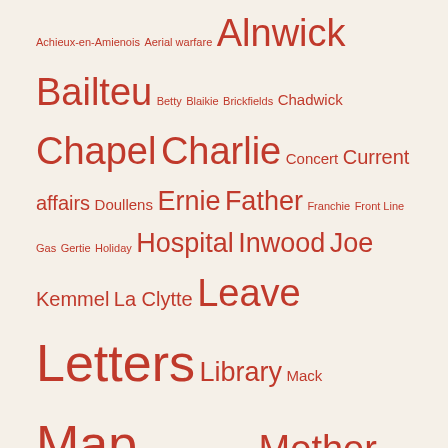Achieux-en-Amienois Aerial warfare Alnwick Bailteu Betty Blaikie Brickfields Chadwick Chapel Charlie Concert Current affairs Doullens Ernie Father Franchie Front Line Gas Gertie Holiday Hospital Inwood Joe Kemmel La Clytte Leave Letters Library Mack Map Metz-en-Couture Mother Music Méteren Naval warfare Pelman Recruitment Sheffield Shop Somme Sunderland Trescault War Willie Whittaker Work
List All Tags
Bold type indicates words or phrases written in longhand, not shorthand in the original diaries.
* indicates words which are illegible in the original diaries.